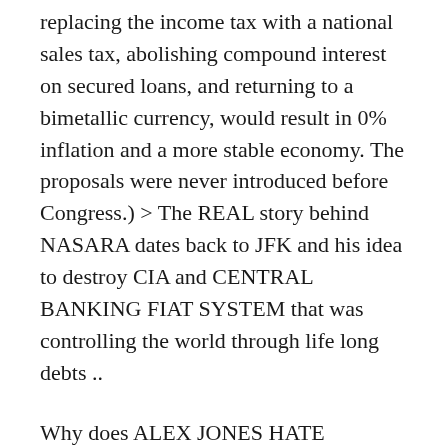replacing the income tax with a national sales tax, abolishing compound interest on secured loans, and returning to a bimetallic currency, would result in 0% inflation and a more stable economy. The proposals were never introduced before Congress.) > The REAL story behind NASARA dates back to JFK and his idea to destroy CIA and CENTRAL BANKING FIAT SYSTEM that was controlling the world through life long debts ..
Why does ALEX JONES HATE NASARA?
I often source ALL places for Information,, including looking to DEEP STATE BIDEN administration web sites, MSM , GOOGLE,